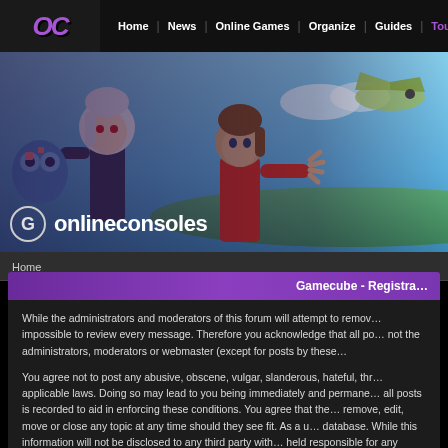[Figure (screenshot): Website header with OC logo and navigation bar containing Home, News, Online Games, Organize, Guides, Tournaments links]
[Figure (illustration): Hero banner showing anime-style video game characters with onlineconsoles branding at the bottom]
Home
Gamecube - Registra
While the administrators and moderators of this forum will attempt to remove or close any messages, it is impossible to review every message. Therefore you acknowledge that all posts made to this forum express not the administrators, moderators or webmaster (except for posts by these people).
You agree not to post any abusive, obscene, vulgar, slanderous, hateful, threatening, or any other material that may violate any applicable laws. Doing so may lead to you being immediately and permanently banned (and your service provider being informed). The IP address of all posts is recorded to aid in enforcing these conditions. You agree that the webmaster, administrator and moderators of this forum have the right to remove, edit, move or close any topic at any time should they see fit. As a user you agree to any information you have entered above being stored in a database. While this information will not be disclosed to any third party without your consent, the webmaster, administrator and moderators cannot be held responsible for any hacking attempt that may lead to the data being compromised.
Please Do not specify from each other fine from